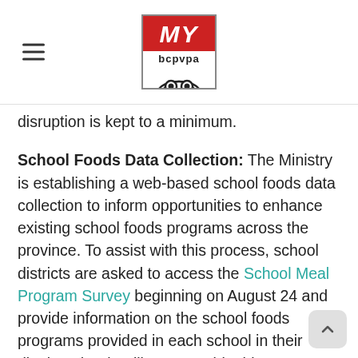[Figure (logo): MY bcpvpa logo — red box with italic white MY text, bcpvpa text, and owl emblem below]
disruption is kept to a minimum.
School Foods Data Collection: The Ministry is establishing a web-based school foods data collection to inform opportunities to enhance existing school foods programs across the province. To assist with this process, school districts are asked to access the School Meal Program Survey beginning on August 24 and provide information on the school foods programs provided in each school in their district. The deadline to provide this information is Friday September 24. If you require clarification on any of the survey questions,